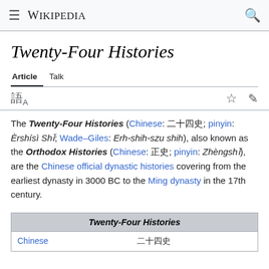≡ WIKIPEDIA 🔍
Twenty-Four Histories
Article  Talk
The Twenty-Four Histories (Chinese: 二十四史; pinyin: Èrshísì Shǐ; Wade–Giles: Erh-shih-szu shih), also known as the Orthodox Histories (Chinese: 正史; pinyin: Zhèngshǐ), are the Chinese official dynastic histories covering from the earliest dynasty in 3000 BC to the Ming dynasty in the 17th century.
| Twenty-Four Histories |
| --- |
| Chinese | 二十四史 |